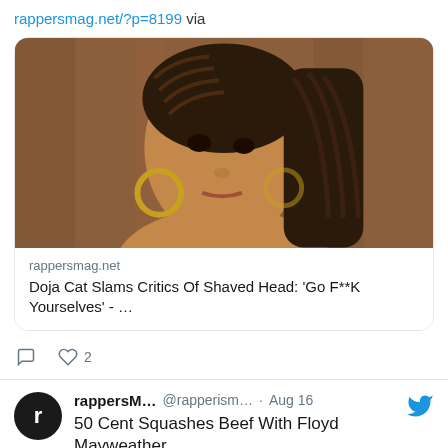rappersmag.net/?p=8199 via
[Figure (photo): A photo of a woman with braided hair and gold hoop earrings against a brown background, shown in a tweet card preview]
rappersmag.net
Doja Cat Slams Critics Of Shaved Head: 'Go F**K Yourselves' - …
♡ 2
rappersM... @rapperism... · Aug 16
50 Cent Squashes Beef With Floyd Mayweather
#50Cent